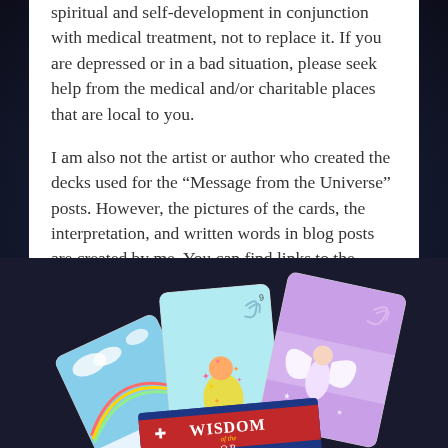spiritual and self-development in conjunction with medical treatment, not to replace it. If you are depressed or in a bad situation, please seek help from the medical and/or charitable places that are local to you.
I am also not the artist or author who created the decks used for the “Message from the Universe” posts. However, the pictures of the cards, the interpretation, and written words in blog posts are created by me. You can find links to the decks by visiting my Resources page.
[Figure (photo): A fanned arrangement of oracle/tarot cards showing colorful illustrations including a rainbow sky scene, a magical figure with sparkles, and an angel with wings. At the bottom is a card box reading WISDOM of the ORACLE (partially visible).]